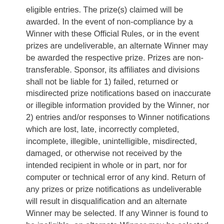eligible entries. The prize(s) claimed will be awarded. In the event of non-compliance by a Winner with these Official Rules, or in the event prizes are undeliverable, an alternate Winner may be awarded the respective prize. Prizes are non-transferable. Sponsor, its affiliates and divisions shall not be liable for 1) failed, returned or misdirected prize notifications based on inaccurate or illegible information provided by the Winner, nor 2) entries and/or responses to Winner notifications which are lost, late, incorrectly completed, incomplete, illegible, unintelligible, misdirected, damaged, or otherwise not received by the intended recipient in whole or in part, nor for computer or technical error of any kind. Return of any prizes or prize notifications as undeliverable will result in disqualification and an alternate Winner may be selected. If any Winner is found to be ineligible, an alternate Winner may be selected from the pool of remaining eligible entries. Upon request of the Sponsor, Winner must sign and return an Affidavit of Eligibility and Liability/Publicity